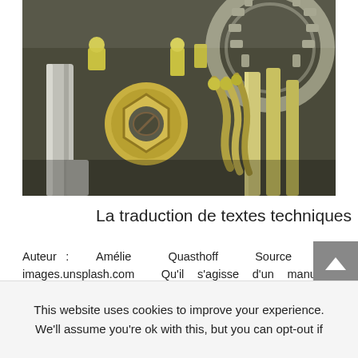[Figure (photo): Close-up photo of mechanical engine parts showing brass nuts, bolts, fittings, and metal pipes/cables in silver and gold tones]
La traduction de textes techniques
Auteur : Amélie Quasthoff Source photo: images.unsplash.com Qu'il s'agisse d'un manuel de construction, d'un rapport ou d'une fiche technique, le destinataire d'un tel texte est souvent « l'utilisateur ». Celui-ci lit le manuel d'utilisation afin de faire fonctio la
This website uses cookies to improve your experience. We'll assume you're ok with this, but you can opt-out if